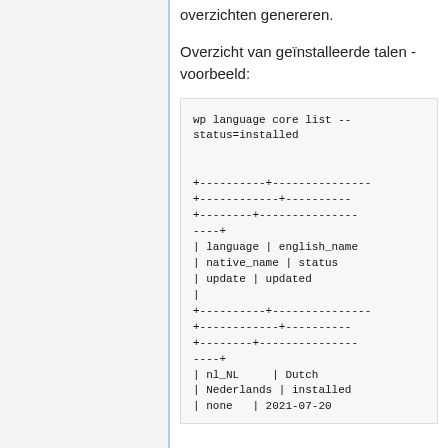overzichten genereren.
Overzicht van geïnstalleerde talen - voorbeeld:
wp language core list --status=installed

+---------+---------------+
+----------+------------+
+--------+---------------+
----+
| language | english_name
| native_name | status
| update | updated
|
+---------+---------------+
+----------+------------+
+--------+---------------+
----+
| nl_NL     | Dutch
| Nederlands | installed
| none   | 2021-07-20